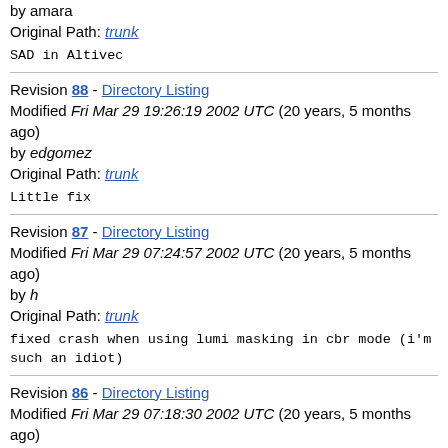by amara
Original Path: trunk
SAD in Altivec
Revision 88 - Directory Listing
Modified Fri Mar 29 19:26:19 2002 UTC (20 years, 5 months ago)
by edgomez
Original Path: trunk
Little fix
Revision 87 - Directory Listing
Modified Fri Mar 29 07:24:57 2002 UTC (20 years, 5 months ago)
by h
Original Path: trunk
fixed crash when using lumi masking in cbr mode (i'm such an idiot)
Revision 86 - Directory Listing
Modified Fri Mar 29 07:18:30 2002 UTC (20 years, 5 months ago)
by h
Original Path: trunk
fixed crash when using lumi masking in cbr mode (last time..)